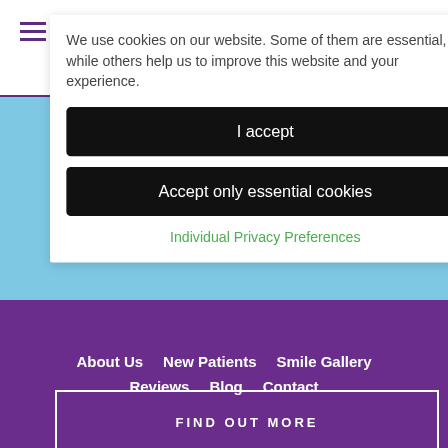We use cookies on our website. Some of them are essential, while others help us to improve this website and your experience.
I accept
Accept only essential cookies
Individual Privacy Preferences
FIND OUT MORE
About Us   New Patients   Smile Gallery   Reviews   Blog   Contact